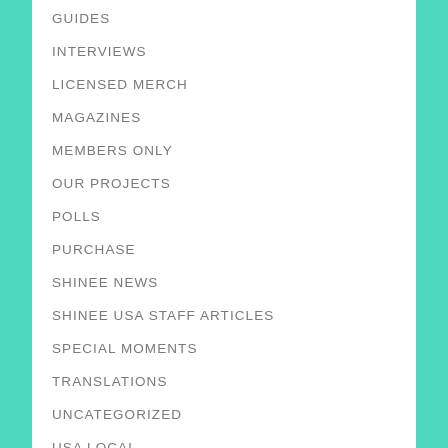GUIDES
INTERVIEWS
LICENSED MERCH
MAGAZINES
MEMBERS ONLY
OUR PROJECTS
POLLS
PURCHASE
SHINEE NEWS
SHINEE USA STAFF ARTICLES
SPECIAL MOMENTS
TRANSLATIONS
UNCATEGORIZED
USA LOCAL
VARIETY SHOWS